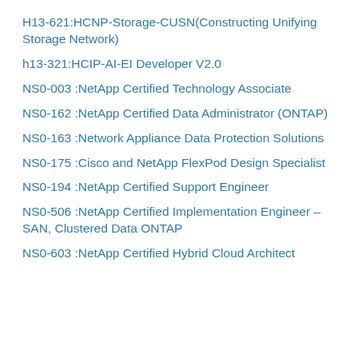H13-621:HCNP-Storage-CUSN(Constructing Unifying Storage Network)
h13-321:HCIP-AI-EI Developer V2.0
NS0-003 :NetApp Certified Technology Associate
NS0-162 :NetApp Certified Data Administrator (ONTAP)
NS0-163 :Network Appliance Data Protection Solutions
NS0-175 :Cisco and NetApp FlexPod Design Specialist
NS0-194 :NetApp Certified Support Engineer
NS0-506 :NetApp Certified Implementation Engineer – SAN, Clustered Data ONTAP
NS0-603 :NetApp Certified Hybrid Cloud Architect